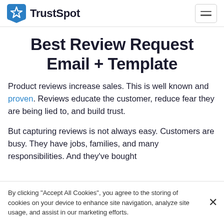TrustSpot
Best Review Request Email + Template
Product reviews increase sales. This is well known and proven. Reviews educate the customer, reduce fear they are being lied to, and build trust.
But capturing reviews is not always easy. Customers are busy. They have jobs, families, and many responsibilities. And they've bought
By clicking "Accept All Cookies", you agree to the storing of cookies on your device to enhance site navigation, analyze site usage, and assist in our marketing efforts.